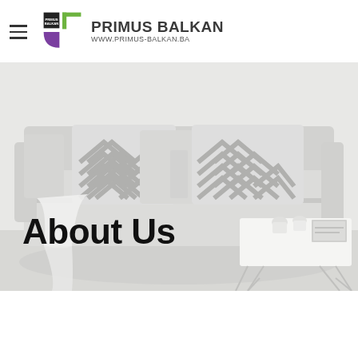PRIMUS BALKAN WWW.PRIMUS-BALKAN.BA
[Figure (photo): Photograph of a light grey sofa with chevron-patterned cushions, a draped white blanket, and a white geometric coffee table with cups and a magazine, styled in a minimal interior setting.]
About Us